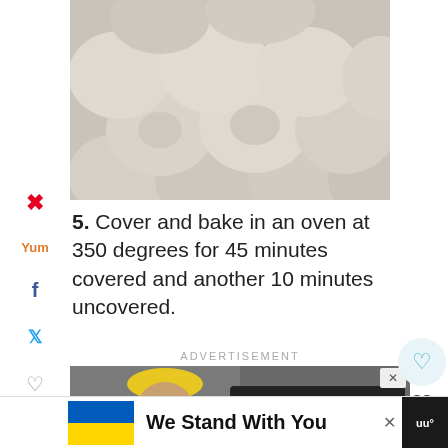[Figure (photo): Close-up of multiple raw dough rolls or bread rolls packed together in a baking dish, viewed from above. The dough balls appear pale/grey-white and fill the frame.]
5. Cover and bake in an oven at 350 degrees for 45 minutes covered and another 10 minutes uncovered.
ADVERTISEMENT
[Figure (photo): Advertisement image showing a bearded man wearing a yellow hard hat and safety glasses in an industrial setting, with text overlay reading 'IT'S UP TO YOU :: COVID-19 VACCINATION']
We Stand With You